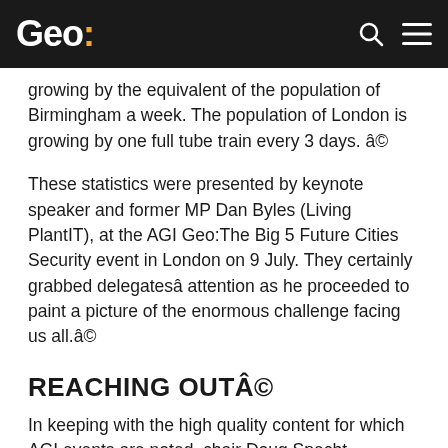Geo:
growing by the equivalent of the population of Birmingham a week. The population of London is growing by one full tube train every 3 days. â©
These statistics were presented by keynote speaker and former MP Dan Byles (Living PlantIT), at the AGI Geo:The Big 5 Future Cities Security event in London on 9 July. They certainly grabbed delegatesâ attention as he proceeded to paint a picture of the enormous challenge facing us all.â©
REACHING OUTÂ©
In keeping with the high quality content for which AGI events are noted, chair Doug Specht (University of Westminster) structured presentations that reached well beyond geographic information professionals to demonstrate the potential arising from the future development of our urban